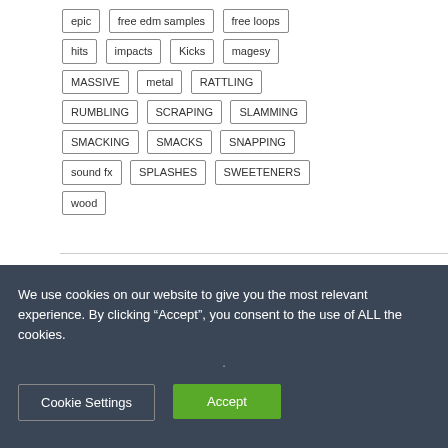epic
free edm samples
free loops
hits
impacts
Kicks
magesy
MASSIVE
metal
RATTLING
RUMBLING
SCRAPING
SLAMMING
SMACKING
SMACKS
SNAPPING
sound fx
SPLASHES
SWEETENERS
wood
We use cookies on our website to give you the most relevant experience. By clicking “Accept”, you consent to the use of ALL the cookies.
Cookie Settings
Accept